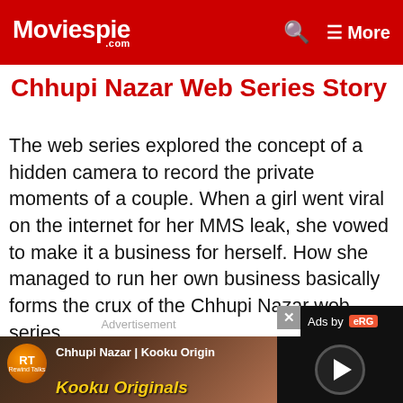Moviespie .com | More
Chhupi Nazar Web Series Story
The web series explored the concept of a hidden camera to record the private moments of a couple. When a girl went viral on the internet for her MMS leak, she vowed to make it a business for herself. How she managed to run her own business basically forms the crux of the Chhupi Nazar web series.
Advertisement
[Figure (screenshot): Video thumbnail showing Chhupi Nazar | Kooku Originals with logo and play button overlay]